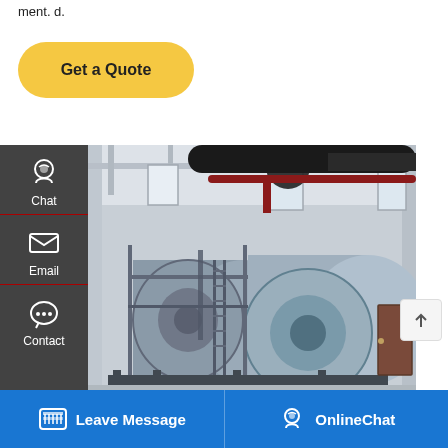ment. d.
Get a Quote
[Figure (photo): Industrial boiler equipment inside a large white factory building with pipes and metal framework]
Chat
Email
Contact
Save Stickers on WhatsApp
BOILER COMPANY
OWN...
Leave Message
OnlineChat